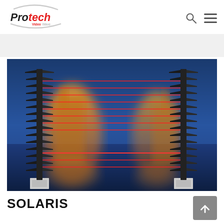Protech VideoWave
[Figure (photo): Two tall black perimeter intrusion detection sensor columns with multiple protruding horizontal fins/blades mounted on white concrete bases, connected by multiple horizontal red laser beams. Background shows a blurred industrial/urban nighttime scene with reflections on water.]
SOLARIS